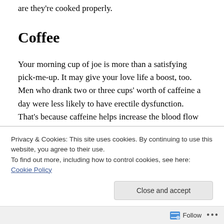are they're cooked properly.
Coffee
Your morning cup of joe is more than a satisfying pick-me-up. It may give your love life a boost, too. Men who drank two or three cups' worth of caffeine a day were less likely to have erectile dysfunction. That's because caffeine helps increase the blood flow to the penis.
Dark Chocolate
Privacy & Cookies: This site uses cookies. By continuing to use this website, you agree to their use.
To find out more, including how to control cookies, see here: Cookie Policy
Close and accept
Follow ...